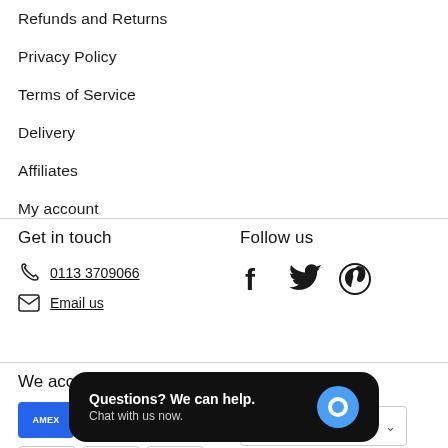Refunds and Returns
Privacy Policy
Terms of Service
Delivery
Affiliates
My account
Get in touch
0113 3709066
Email us
Follow us
[Figure (infographic): Social media icons: Facebook, Twitter, Pinterest]
We accept
[Figure (infographic): Payment method logos: American Express, Apple Pay, Diners Club, Google Pay, Maestro, Mastercard, Shopify Pay, Visa]
Currency
[Figure (infographic): Currency dropdown selector with chevron]
Questions? We can help. Chat with us now.